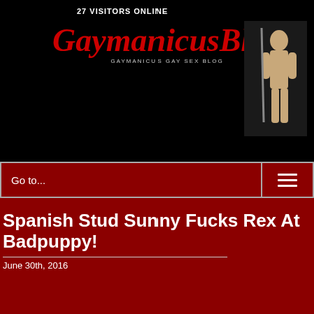27 VISITORS ONLINE
GaymanicusBlog
GAYMANICUS GAY SEX BLOG
[Figure (photo): Shirtless male figure holding a pole against dark background]
Go to...
Spanish Stud Sunny Fucks Rex At Badpuppy!
June 30th, 2016
[Figure (illustration): Badpuppy banner with logo text in red italic on blue background with white dog mascot, and Big Cock label on red bar below]